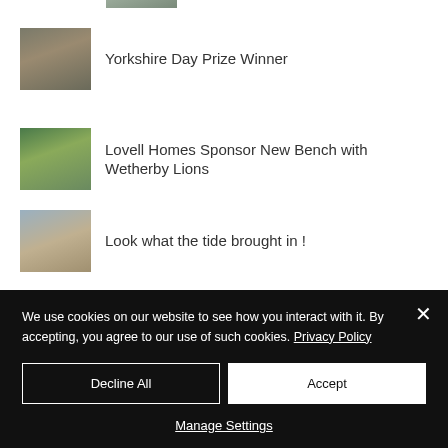[Figure (photo): Partial cropped photo at the top of the page]
Yorkshire Day Prize Winner
Lovell Homes Sponsor New Bench with Wetherby Lions
Look what the tide brought in !
We use cookies on our website to see how you interact with it. By accepting, you agree to our use of such cookies. Privacy Policy
Decline All
Accept
Manage Settings